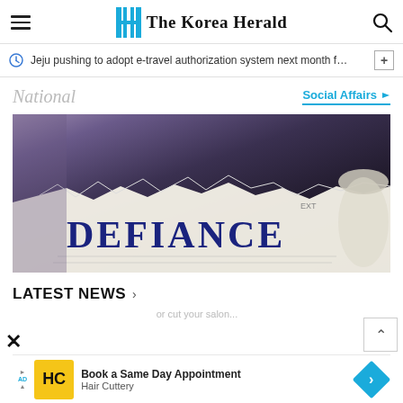The Korea Herald
Jeju pushing to adopt e-travel authorization system next month f…
National
Social Affairs
[Figure (photo): News website screenshot showing The Korea Herald page with a featured image containing the word DEFIANCE on a torn newspaper over a background scene, under the National / Social Affairs section.]
LATEST NEWS
[Figure (infographic): Advertisement banner for Hair Cuttery: Book a Same Day Appointment, with yellow HC logo and blue diamond arrow icon.]